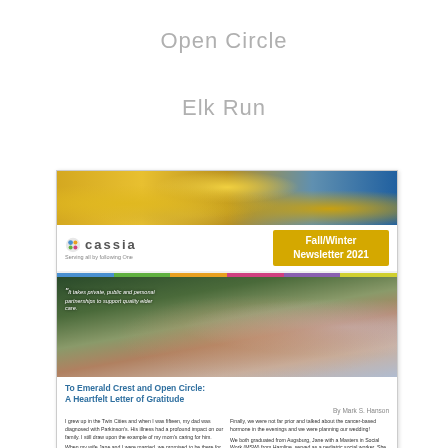Open Circle
Elk Run
[Figure (illustration): Thumbnail of Cassia Fall/Winter Newsletter 2021 cover page showing yellow flower banner, Cassia logo header with newsletter title, a photo of an elderly couple with a quote about public-private partnerships for quality elder care, and an article titled 'To Emerald Crest and Open Circle: A Heartfelt Letter of Gratitude' by Mark S. Hanson with body text columns.]